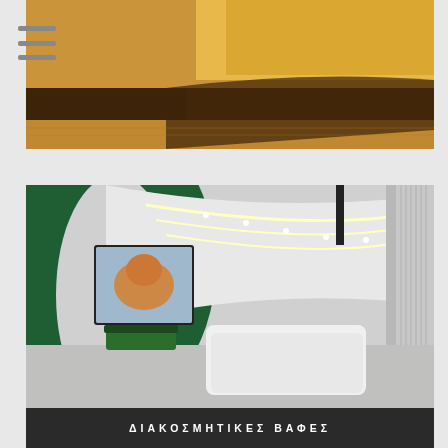[Figure (photo): Close-up architectural photo showing stacked geometric building elements in warm golden/orange and dark brown tones, suggesting textured concrete or stone surfaces with strong horizontal lines.]
[Figure (photo): Interior architectural rendering of a modern reception/lobby area with curved white ceiling featuring LED strip lighting, a white reception desk, decorative animal artwork displayed on a large screen on the wall, a green plant, and a dark green curved accent wall. The design has a futuristic, high-end aesthetic.]
ΔΙΑΚΟΣΜΗΤΙΚΕΣ ΒΑΦΕΣ